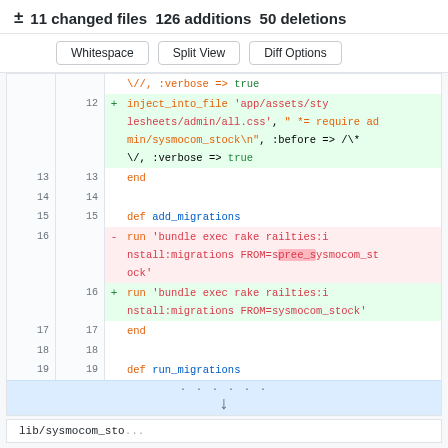± 11 changed files 126 additions 50 deletions
[Figure (screenshot): Git diff view showing code changes. Buttons: Whitespace, Split View, Diff Options. Lines 12-19 of a Ruby migration file showing inject_into_file and run commands, with line 16 being a deletion (spree_sysmocom_stock) and a corresponding addition (sysmocom_stock). Below is an expand row and the start of another file bar: lib/sysmocom_sto...]